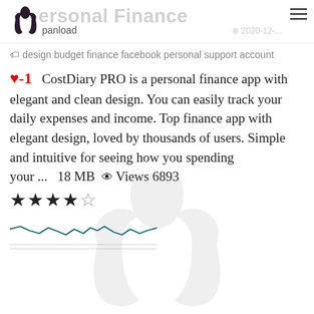Personal Finance — panload
design budget finance facebook personal support account
▼-1  CostDiary PRO is a personal finance app with elegant and clean design. You can easily track your daily expenses and income. Top finance app with elegant design, loved by thousands of users. Simple and intuitive for seeing how you spending your ...   18 MB  👁 Views 6893
[Figure (continuous-plot): Small sparkline/line chart showing fluctuating values over time, teal/dark colored line on white background with horizontal grid lines below]